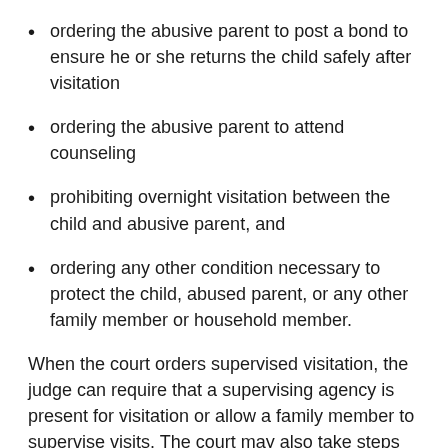ordering the abusive parent to post a bond to ensure he or she returns the child safely after visitation
ordering the abusive parent to attend counseling
prohibiting overnight visitation between the child and abusive parent, and
ordering any other condition necessary to protect the child, abused parent, or any other family member or household member.
When the court orders supervised visitation, the judge can require that a supervising agency is present for visitation or allow a family member to supervise visits. The court may also take steps to:
limit the amount of time that the family of the